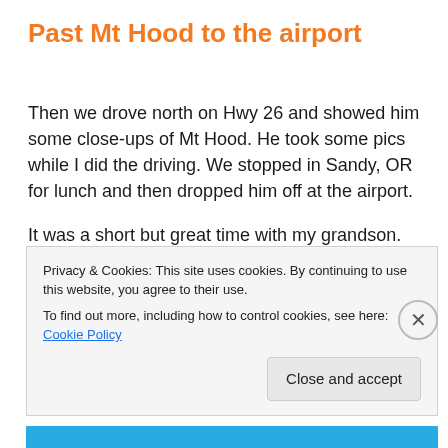Past Mt Hood to the airport
Then we drove north on Hwy 26 and showed him some close-ups of Mt Hood. He took some pics while I did the driving. We stopped in Sandy, OR for lunch and then dropped him off at the airport.
It was a short but great time with my grandson. Now he knows how Grandpa lives. HA! I think he enjoyed himself and I invited him to come back next summer as I plan on
Privacy & Cookies: This site uses cookies. By continuing to use this website, you agree to their use.
To find out more, including how to control cookies, see here: Cookie Policy